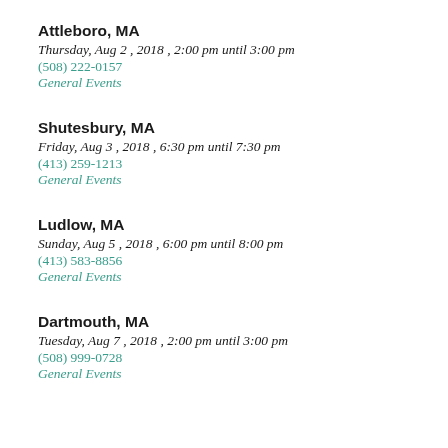Attleboro, MA
Thursday, Aug 2, 2018, 2:00 pm until 3:00 pm
(508) 222-0157
General Events
Shutesbury, MA
Friday, Aug 3, 2018, 6:30 pm until 7:30 pm
(413) 259-1213
General Events
Ludlow, MA
Sunday, Aug 5, 2018, 6:00 pm until 8:00 pm
(413) 583-8856
General Events
Dartmouth, MA
Tuesday, Aug 7, 2018, 2:00 pm until 3:00 pm
(508) 999-0728
General Events